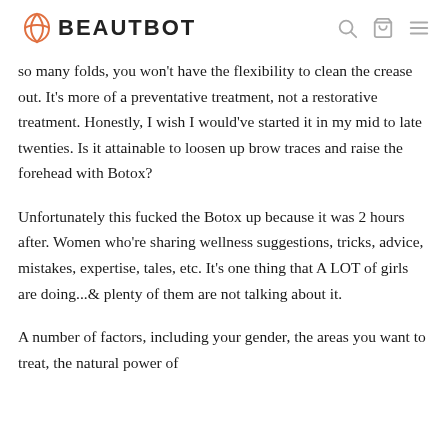BEAUTBOT
so many folds, you won't have the flexibility to clean the crease out. It's more of a preventative treatment, not a restorative treatment. Honestly, I wish I would've started it in my mid to late twenties. Is it attainable to loosen up brow traces and raise the forehead with Botox?
Unfortunately this fucked the Botox up because it was 2 hours after. Women who're sharing wellness suggestions, tricks, advice, mistakes, expertise, tales, etc. It's one thing that A LOT of girls are doing...& plenty of them are not talking about it.
A number of factors, including your gender, the areas you want to treat, the natural power of